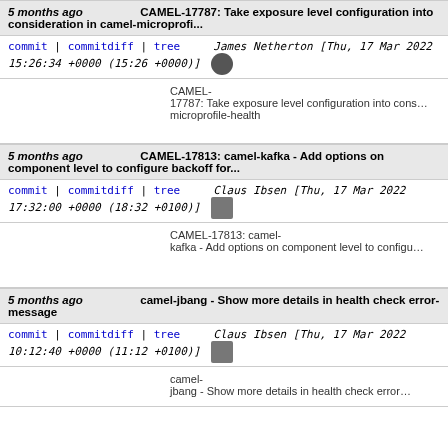5 months ago   CAMEL-17787: Take exposure level configuration into consideration in camel-microprofi...
commit | commitdiff | tree   James Netherton [Thu, 17 Mar 2022 15:26:34 +0000 (15:26 +0000)]
CAMEL-17787: Take exposure level configuration into consideration in microprofile-health
5 months ago   CAMEL-17813: camel-kafka - Add options on component level to configure backoff for...
commit | commitdiff | tree   Claus Ibsen [Thu, 17 Mar 2022 17:32:00 +0000 (18:32 +0100)]
CAMEL-17813: camel-kafka - Add options on component level to configure backoff for...
5 months ago   camel-jbang - Show more details in health check error-message
commit | commitdiff | tree   Claus Ibsen [Thu, 17 Mar 2022 10:12:40 +0000 (11:12 +0100)]
camel-jbang - Show more details in health check error...